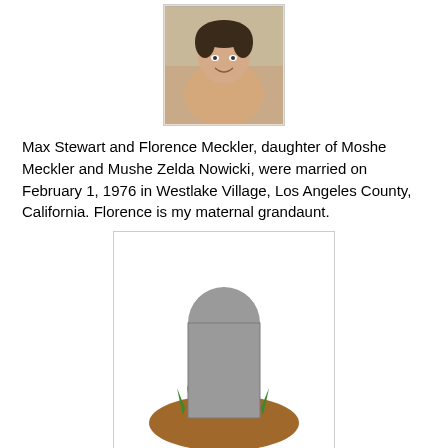[Figure (photo): Small portrait photo of a person]
Max Stewart and Florence Meckler, daughter of Moshe Meckler and Mushe Zelda Nowicki, were married on February 1, 1976 in Westlake Village, Los Angeles County, California.  Florence is my maternal grandaunt.
[Figure (illustration): Gravestone emoji illustration with brown mound and green grass]
Deaths
Samuel Holsinger, son of David Holsinger and Lydia Mack, died February 1, 1821 at the age of 14 1/2 months, possibly in Franklin County, Pennsylvania.  He is my 2nd cousin 5x removed.